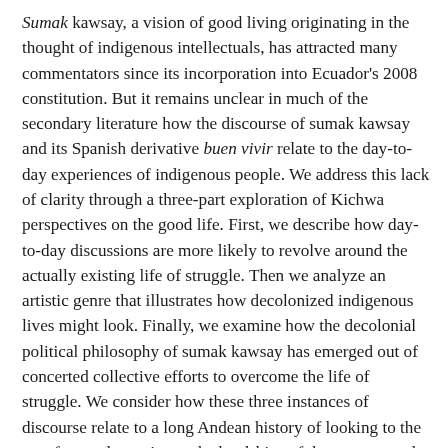Sumak kawsay, a vision of good living originating in the thought of indigenous intellectuals, has attracted many commentators since its incorporation into Ecuador's 2008 constitution. But it remains unclear in much of the secondary literature how the discourse of sumak kawsay and its Spanish derivative buen vivir relate to the day-to-day experiences of indigenous people. We address this lack of clarity through a three-part exploration of Kichwa perspectives on the good life. First, we describe how day-to-day discussions are more likely to revolve around the actually existing life of struggle. Then we analyze an artistic genre that illustrates how decolonized indigenous lives might look. Finally, we examine how the decolonial political philosophy of sumak kawsay has emerged out of concerted collective efforts to overcome the life of struggle. We consider how these three instances of discourse relate to a long Andean history of looking to the past for an alternative to the hardships of the present, and conclude with a call to take indigenous perspectives more fully into account